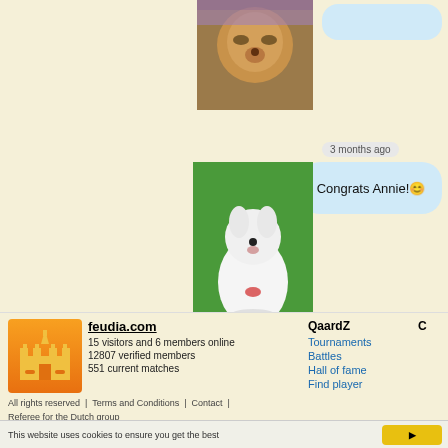[Figure (photo): Photo of a small dog being held, with purple/lavender clothing visible, top portion cropped]
[Figure (photo): Empty speech bubble, light blue, at top right]
3 months ago
Congrats Annie!☺
[Figure (photo): White West Highland Terrier puppy sitting on green grass, with red collar, star emoji below]
[Figure (logo): Feudia.com orange castle logo]
feudia.com
15 visitors and 6 members online
12807 verified members
551 current matches
QaardZ
Tournaments
Battles
Hall of fame
Find player
All rights reserved  |  Terms and Conditions  |  Contact  |  Referee for the Dutch group
This website uses cookies to ensure you get the best